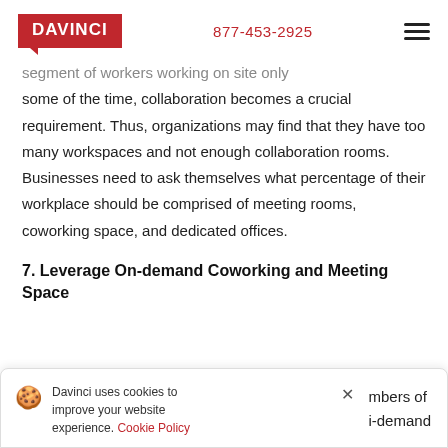DAVINCI   877-453-2925
segment of workers working on site only some of the time, collaboration becomes a crucial requirement. Thus, organizations may find that they have too many workspaces and not enough collaboration rooms. Businesses need to ask themselves what percentage of their workplace should be comprised of meeting rooms, coworking space, and dedicated offices.
7. Leverage On-demand Coworking and Meeting Space
Davinci uses cookies to improve your website experience. Cookie Policy   [×]   mbers of   i-demand